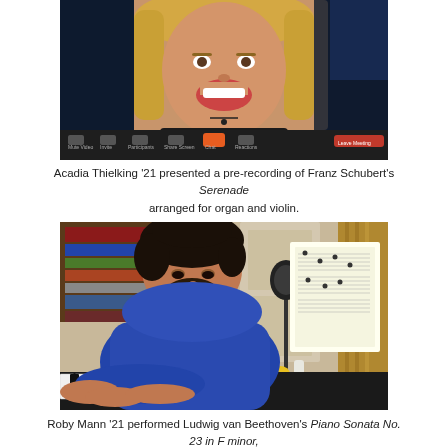[Figure (screenshot): Screenshot of a Zoom video call showing a smiling young woman with long blonde hair and a black top with necklace. The Zoom toolbar is visible at the bottom with icons for Mute Video, Invite, Participants, Share Screen, Chat (highlighted in orange), Reactions, and Leave Meeting.]
Acadia Thielking '21 presented a pre-recording of Franz Schubert's Serenade arranged for organ and violin.
[Figure (photo): Photo of a young man with dark curly hair and beard, wearing a blue t-shirt, leaning forward playing a piano. Sheet music is visible on the piano. A microphone and bookshelf are in the background.]
Roby Mann '21 performed Ludwig van Beethoven's Piano Sonata No. 23 in F minor, Op. 57 live on a piano.